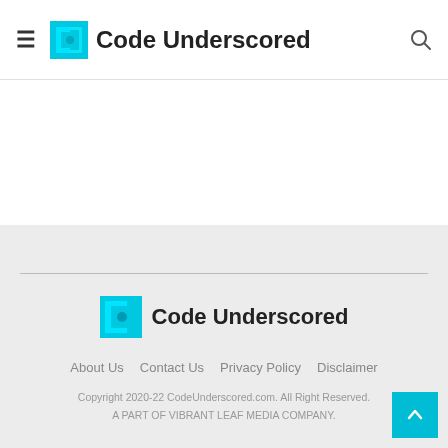Code Underscored
[Figure (logo): Code Underscored logo with cyan bracket icon and bold site name in footer]
About Us  Contact Us  Privacy Policy  Disclaimer
Copyright 2020-22 CodeUnderscored.com. All Right Reserved.
A PART OF VIBRANT LEAF MEDIA COMPANY.